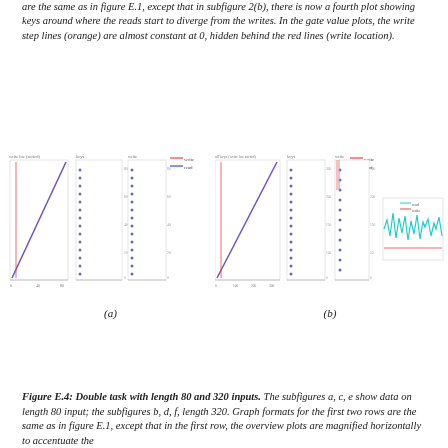are the same as in figure E.1, except that in subfigure 2(b), there is now a fourth plot showing keys around where the reads start to diverge from the writes. In the gate value plots, the write step lines (orange) are almost constant at 0, hidden behind the red lines (write location).
[Figure (continuous-plot): Subfigure (a): Three side-by-side small plots with a legend, showing linear/scatter data. Left plot shows a diagonal purple line (write location vs step), center plot shows blue dots scatter (keys vs step), right plot shows similar scatter. Legend shows red and blue series.]
(a)
[Figure (continuous-plot): Subfigure (b): Four side-by-side small plots with a legend. Left plot shows a diagonal purple line, second plot shows blue dots scatter, third shows scatter with red/orange highlight, fourth plot (extra) shows a noisy oscillating cyan/green waveform. Legend shows red and blue series.]
(b)
Figure E.4: Double task with length 80 and 320 inputs. The subfigures a, c, e show data on length 80 input; the subfigures b, d, f, length 320. Graph formats for the first two rows are the same as in figure E.1, except that in the first row, the overview plots are magnified horizontally to accentuate the